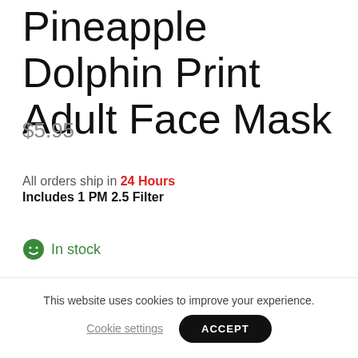Pineapple Dolphin Print Adult Face Mask
$5.95
All orders ship in 24 Hours
Includes 1 PM 2.5 Filter
In stock
1
This website uses cookies to improve your experience.
Cookie settings
ACCEPT